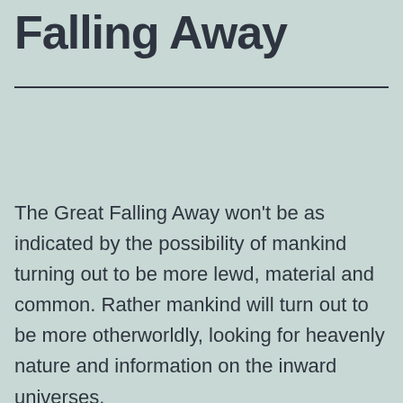Falling Away
The Great Falling Away won't be as indicated by the possibility of mankind turning out to be more lewd, material and common. Rather mankind will turn out to be more otherworldly, looking for heavenly nature and information on the inward universes.